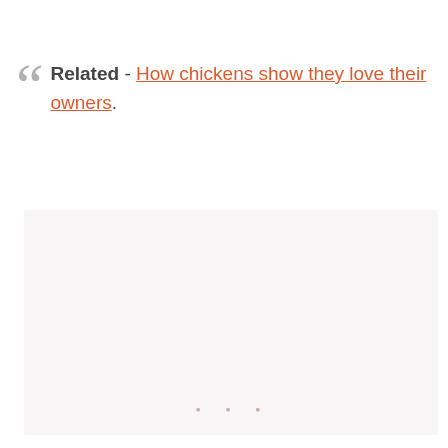Related - How chickens show they love their owners.
[Figure (other): Advertisement placeholder box with light gray background and three small dots at the bottom center]